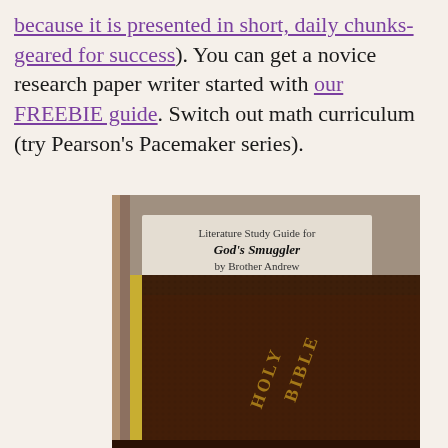because it is presented in short, daily chunks-geared for success). You can get a novice research paper writer started with our FREEBIE guide. Switch out math curriculum (try Pearson's Pacemaker series).
[Figure (photo): Book cover image: Literature Study Guide for God's Smuggler by Brother Andrew, showing a close-up of a leather-bound Holy Bible spine with gold lettering.]